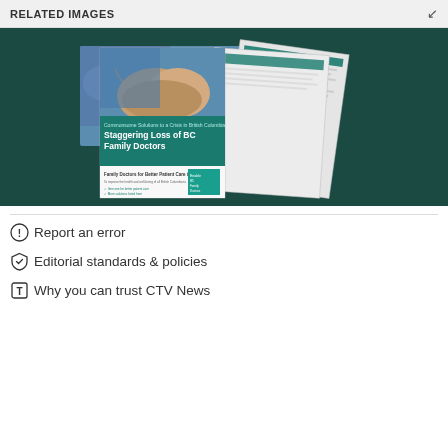RELATED IMAGES
[Figure (photo): A promotional photo showing a report booklet titled 'Staggering Loss of BC Family Doctors' with subtitle 'Commonest Solutions to a Crisis in British Columbia', displayed against a dark teal background. The report cover features an image of healthcare workers' hands.]
Report an error
Editorial standards & policies
Why you can trust CTV News